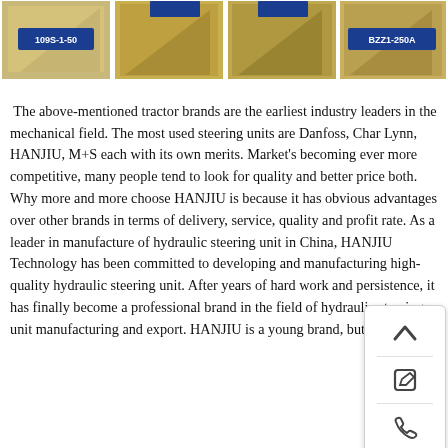[Figure (photo): Strip of four tractor/hydraulic product images. First image shows a product labeled '109S-1-50' with blue label on yellow/grey background. Second image shows a product (partially visible). Third image shows a product (partially visible). Fourth image shows a product labeled 'BZZ1-250A' with blue label on yellow background.]
The above-mentioned tractor brands are the earliest industry leaders in the mechanical field. The most used steering units are Danfoss, Char Lynn, HANJIU, M+S each with its own merits. Market's becoming ever more competitive, many people tend to look for quality and better price both. Why more and more choose HANJIU is because it has obvious advantages over other brands in terms of delivery, service, quality and profit rate. As a leader in manufacture of hydraulic steering unit in China, HANJIU Technology has been committed to developing and manufacturing high-quality hydraulic steering unit. After years of hard work and persistence, it has finally become a professional brand in the field of hydraulic steering unit manufacturing and export. HANJIU is a young brand, but